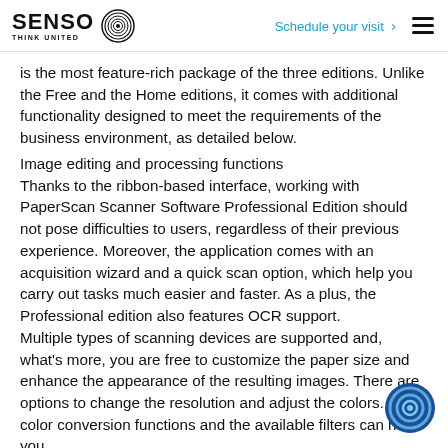SENSO THINK UNITED | Schedule your visit >
is the most feature-rich package of the three editions. Unlike the Free and the Home editions, it comes with additional functionality designed to meet the requirements of the business environment, as detailed below.
Image editing and processing functions
Thanks to the ribbon-based interface, working with PaperScan Scanner Software Professional Edition should not pose difficulties to users, regardless of their previous experience. Moreover, the application comes with an acquisition wizard and a quick scan option, which help you carry out tasks much easier and faster. As a plus, the Professional edition also features OCR support.
Multiple types of scanning devices are supported and, what's more, you are free to customize the paper size and enhance the appearance of the resulting images. There are options to change the resolution and adjust the colors. The color conversion functions and the available filters can help you...